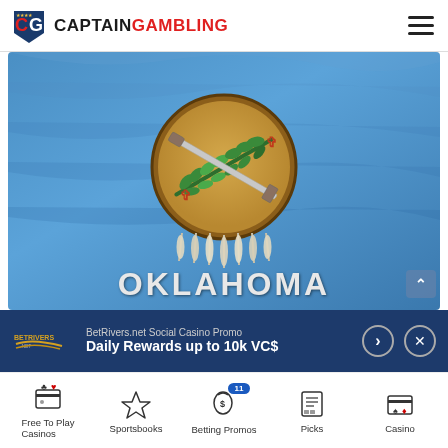[Figure (logo): CaptainGambling logo with shield icon and text CAPTAINGAMBLING]
[Figure (photo): Oklahoma state flag waving with the word OKLAHOMA overlaid at the bottom]
BetRivers.net Social Casino Promo
Daily Rewards up to 10k VC$
Free To Play Casinos  Sportsbooks  Betting Promos  Picks  Casino